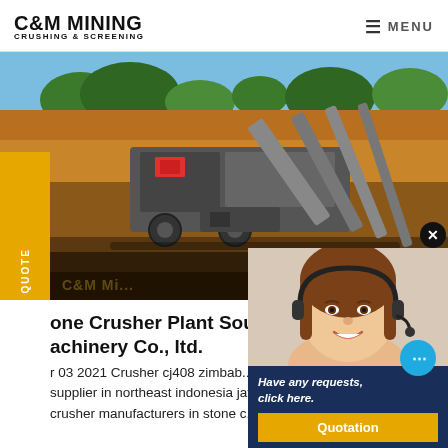C&M MINING CRUSHING & SCREENING
[Figure (photo): Mining crushing and screening plant on a job site with conveyors and machinery, set against trees and orange earth]
REQUEST A QUOTE
Stone Crusher Plant South - C... Machinery Co., ltd.
r 03 2021 Crusher cj408 zimbab... supplier in northeast indonesia jaw... crusher manufacturers in stone c...
[Figure (photo): Customer service representative with headset smiling, with chat popup overlay showing 'Have any requests, click here.' and Quotation button]